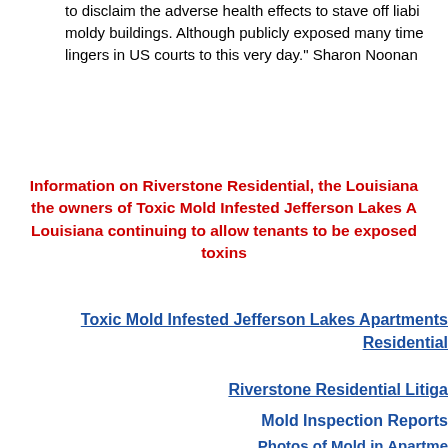to disclaim the adverse health effects to stave off liability for moldy buildings. Although publicly exposed many times, lingers in US courts to this very day." Sharon Noonan
Information on Riverstone Residential, the Louisiana the owners of Toxic Mold Infested Jefferson Lakes Louisiana continuing to allow tenants to be exposed toxins
Toxic Mold Infested Jefferson Lakes Apartments Residential
Riverstone Residential Litiga
Mold Inspection Reports
Photos of Mold in Apartme
Attorney Malpractice